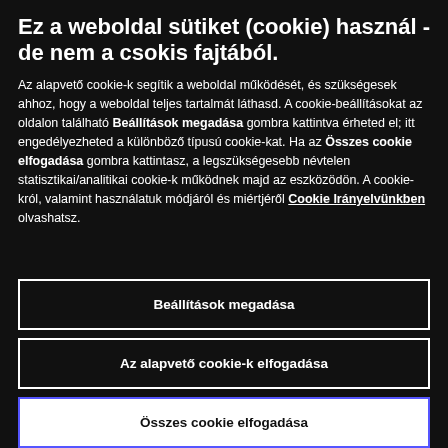Ez a weboldal sütiket (cookie) használ - de nem a csokis fajtából.
Az alapvető cookie-k segítik a weboldal működését, és szükségesek ahhoz, hogy a weboldal teljes tartalmát láthasd. A cookie-beállításokat az oldalon található Beállítások megadása gombra kattintva érheted el; itt engedélyezheted a különböző típusú cookie-kat. Ha az Összes cookie elfogadása gombra kattintasz, a legszükségesebb névtelen statisztikai/analitikai cookie-k működnek majd az eszközödön. A cookie-król, valamint használatuk módjáról és miértjéről Cookie Irányelvünkben olvashatsz.
Beállítások megadása
Az alapvető cookie-k elfogadása
Összes cookie elfogadása